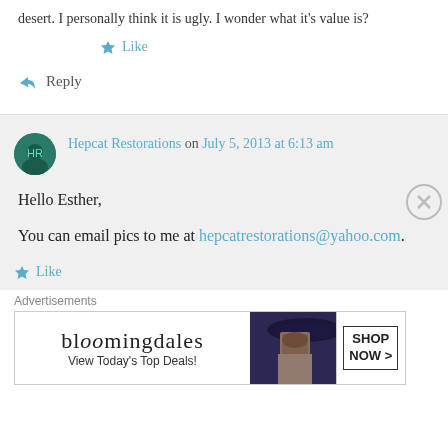desert. I personally think it is ugly. I wonder what it's value is?
★ Like
↳ Reply
Hepcat Restorations on July 5, 2013 at 6:13 am
Hello Esther,
You can email pics to me at hepcatrestorations@yahoo.com.
★ Like
Advertisements
[Figure (other): Bloomingdale's advertisement banner: 'View Today's Top Deals!' with a woman in a hat and 'SHOP NOW >' button]